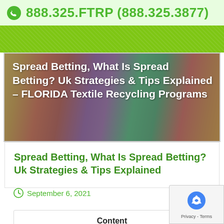888.325.FTRP (888.325.3877)
[Figure (photo): Colorful fabric rolls photo with gray overlay, showing title text: Spread Betting, What Is Spread Betting? Uk Strategies & Tips Explained - FLORIDA Textile Recycling Programs]
Spread Betting, What Is Spread Betting? Uk Strategies & Tips Explained
September 6, 2021   By clicktecs
Content
[Figure (other): reCAPTCHA widget with Privacy - Terms label]